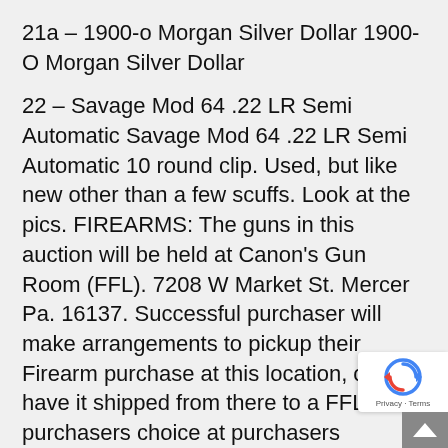21a – 1900-o Morgan Silver Dollar 1900-O Morgan Silver Dollar
22 – Savage Mod 64 .22 LR Semi Automatic Savage Mod 64 .22 LR Semi Automatic 10 round clip. Used, but like new other than a few scuffs. Look at the pics. FIREARMS: The guns in this auction will be held at Canon's Gun Room (FFL). 7208 W Market St. Mercer Pa. 16137. Successful purchaser will make arrangements to pickup their Firearm purchase at this location, or have it shipped from there to a FFL of purchasers choice at purchasers expense. The purchaser must pass NICS Background check. All purchases